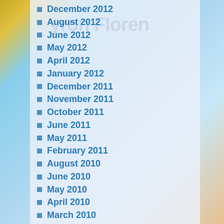December 2012
August 2012
June 2012
May 2012
April 2012
January 2012
December 2011
November 2011
October 2011
June 2011
May 2011
February 2011
August 2010
June 2010
May 2010
April 2010
March 2010
February 2010
January 2010
October 2009
July 2009